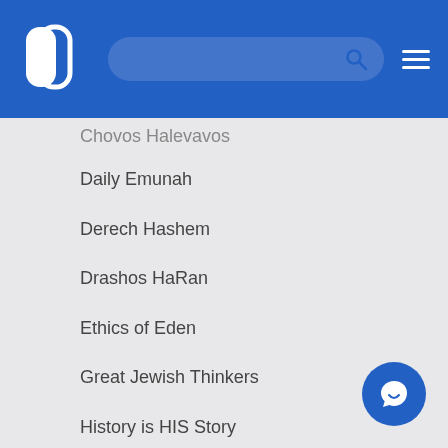[Figure (screenshot): Website header with logo, search bar, and hamburger menu on blue background]
Chovos Halevavos
Daily Emunah
Derech Hashem
Drashos HaRan
Ethics of Eden
Great Jewish Thinkers
History is HIS Story
Horeb
Ideas and Inspiration
In Conversation...
Jerusalem
Jewish Dietary Laws
Jewish Ethicist
Kuzari
Lessons from Eretz Yisrael